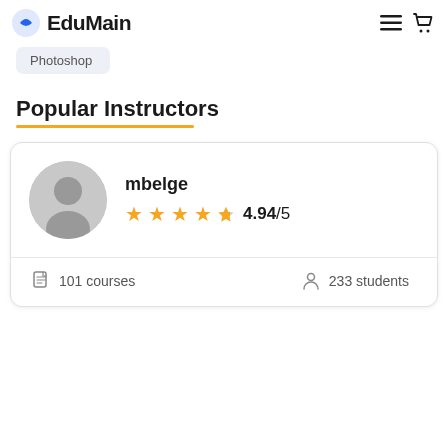EduMain
Photoshop
Popular Instructors
[Figure (other): Instructor card for mbelge showing avatar, rating 4.94/5, 101 courses, 233 students]
mbelge
4.94/5
101 courses
233 students